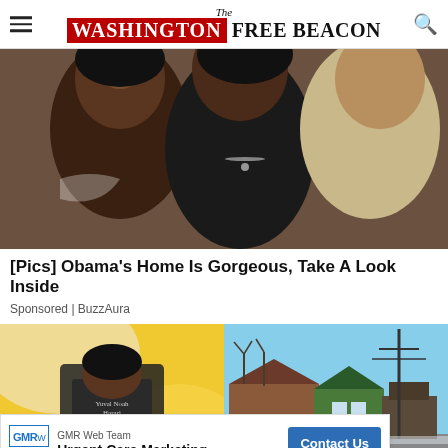The Washington Free Beacon
[Figure (photo): Two smiling women posing together, one in a black tank top]
[Pics] Obama's Home Is Gorgeous, Take A Look Inside
Sponsored | BuzzAura
[Figure (photo): Person holding a book titled 'Homo Deus' by Yuval Noah Harari, yellow geometric background]
[Figure (photo): Dilapidated brick houses on a street in winter]
GMR Web Team
Urgent Care Marketing   Contact Us
t Miserable erica (Based on U.S. Census Data) 2022
Sponsored | Blinkist
Sponsored | New Arena